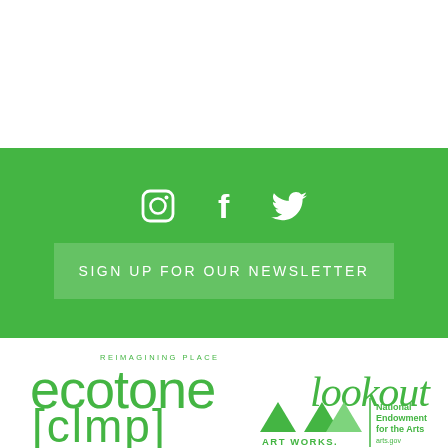[Figure (infographic): Green banner with social media icons (Instagram, Facebook, Twitter) and a newsletter sign-up button]
[Figure (logo): Ecotone - Reimagining Place logo in green]
[Figure (logo): Lookout logo in green handwritten script]
[Figure (logo): CLMP logo in green brackets]
[Figure (logo): Art Works / National Endowment for the Arts logo in green]